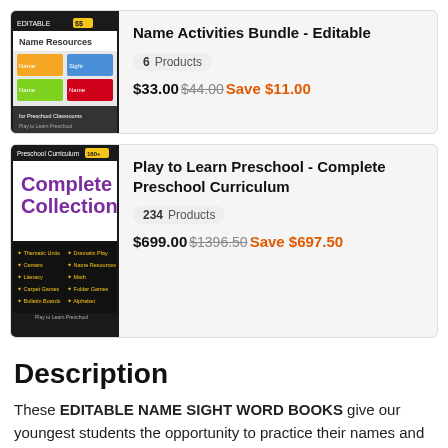[Figure (illustration): Name Resources for Preschool Classrooms bundle cover image with colorful activity sheets]
Name Activities Bundle - Editable
6 Products
$33.00 $44.00 Save $11.00
[Figure (illustration): Play to Learn Preschool Complete Collection curriculum cover with colorful text and bullet list of included items]
Play to Learn Preschool - Complete Preschool Curriculum
234 Products
$699.00 $1396.50 Save $697.50
Description
These EDITABLE NAME SIGHT WORD BOOKS give our youngest students the opportunity to practice their names and their sight words, in cute foldable books that are personalized just for them!